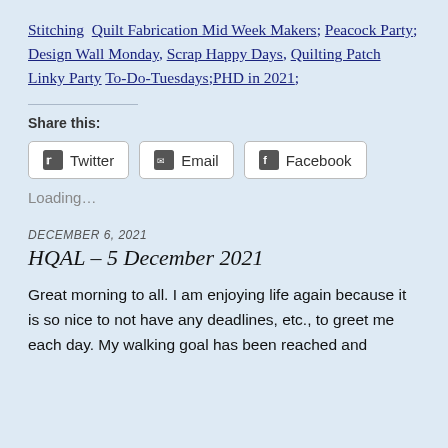Stitching  Quilt Fabrication Mid Week Makers; Peacock Party; Design Wall Monday, Scrap Happy Days, Quilting Patch Linky Party  To-Do-Tuesdays;PHD in 2021;
Share this:
Twitter  Email  Facebook
Loading...
DECEMBER 6, 2021
HQAL – 5 December 2021
Great morning to all. I am enjoying life again because it is so nice to not have any deadlines, etc., to greet me each day. My walking goal has been reached and